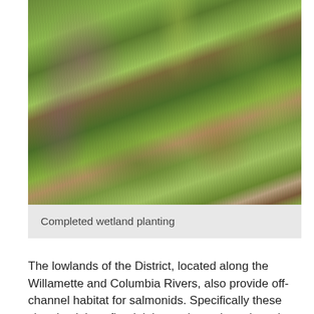[Figure (photo): Photo of completed wetland planting showing dense green and purple grasses and shrubs growing in a wetland area]
Completed wetland planting
The lowlands of the District, located along the Willamette and Columbia Rivers, also provide off-channel habitat for salmonids. Specifically these sloughs, lakes, floodplains and marshes play a key role in the early life history of coho, Chinook, chum and steelhead. Juvenile salmon, heading from their upper watershed birthplaces, stop in these areas to feed